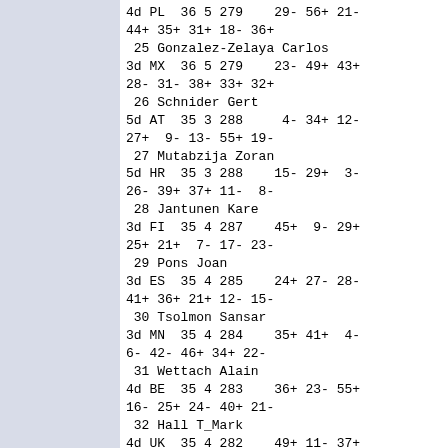4d PL  36 5 279    29- 56+ 21- 44+ 35+ 31+ 18- 36+
25 Gonzalez-Zelaya Carlos
3d MX  36 5 279    23- 49+ 43+ 28- 31- 38+ 33+ 32+
26 Schnider Gert
5d AT  35 3 288     4- 34+ 12- 27+  9- 13- 55+ 19-
27 Mutabzija Zoran
5d HR  35 3 288    15- 29+  3- 26- 39+ 37+ 11-  8-
28 Jantunen Kare
3d FI  35 4 287    45+  9- 29+ 25+ 21+  7- 17- 23-
29 Pons Joan
3d ES  35 4 285    24+ 27- 28- 41+ 36+ 21+ 12- 15-
30 Tsolmon Sansar
3d MN  35 4 284    35+ 41+  4-  6- 42- 46+ 34+ 22-
31 Wettach Alain
4d BE  35 4 283    36+ 23- 55+ 16- 25+ 24- 40+ 21-
32 Hall T_Mark
4d UK  35 4 282    49+ 11- 37+ 19- 57+ 42+ 13- 25-
33 Pljushch Jurij
4d UA  35 4 281    37+ 20- 10- 49+ 43- 39+ 25- 42+
34 Bojanic Milos